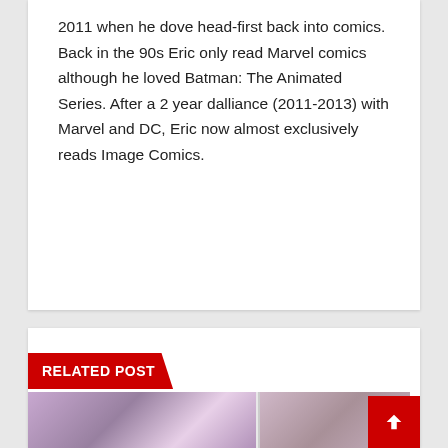2011 when he dove head-first back into comics. Back in the 90s Eric only read Marvel comics although he loved Batman: The Animated Series. After a 2 year dalliance (2011-2013) with Marvel and DC, Eric now almost exclusively reads Image Comics.
RELATED POST
[Figure (photo): Two thumbnail images side by side at the bottom of the page, partially visible]